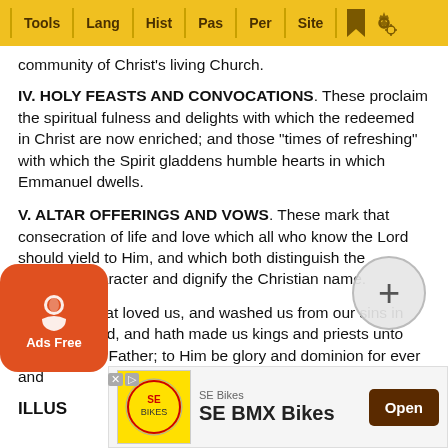Tools | Lang | Hist | Pas | Per | Site
community of Christ's living Church.
IV. HOLY FEASTS AND CONVOCATIONS. These proclaim the spiritual fulness and delights with which the redeemed in Christ are now enriched; and those “times of refreshing” with which the Spirit gladdens humble hearts in which Emmanuel dwells.
V. ALTAR OFFERINGS AND VOWS. These mark that consecration of life and love which all who know the Lord should yield to Him, and which both distinguish the Christian character and dignify the Christian name.
“Unto Him that loved us, and washed us from our sins in His own blood, and hath made us kings and priests unto God and His Father; to Him be glory and dominion for ever and ever. Amen.”
ILLUS…